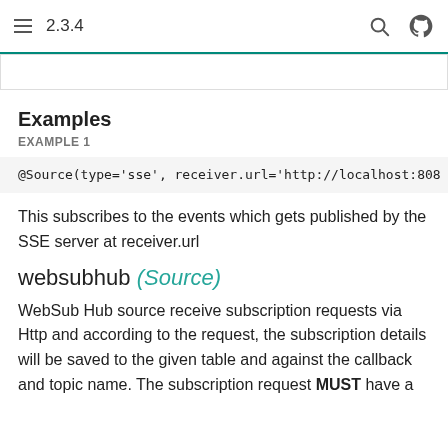2.3.4
Examples
EXAMPLE 1
@Source(type='sse', receiver.url='http://localhost:808
This subscribes to the events which gets published by the SSE server at receiver.url
websubhub (Source)
WebSub Hub source receive subscription requests via Http and according to the request, the subscription details will be saved to the given table and against the callback and topic name. The subscription request MUST have a